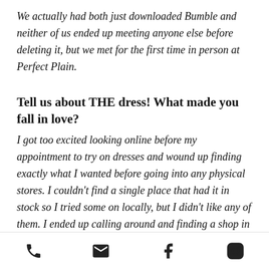We actually had both just downloaded Bumble and neither of us ended up meeting anyone else before deleting it, but we met for the first time in person at Perfect Plain.
Tell us about THE dress! What made you fall in love?
I got too excited looking online before my appointment to try on dresses and wound up finding exactly what I wanted before going into any physical stores. I couldn't find a single place that had it in stock so I tried some on locally, but I didn't like any of them. I ended up calling around and finding a shop in Alabama that would order the
phone, email, facebook, instagram icons